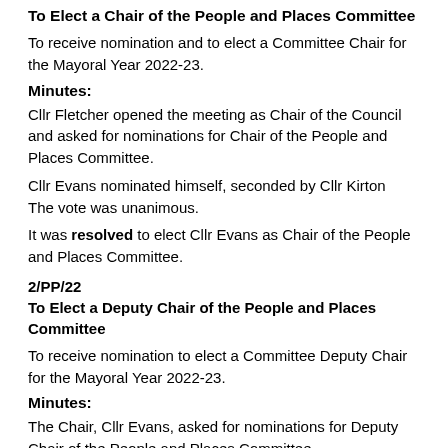To Elect a Chair of the People and Places Committee
To receive nomination and to elect a Committee Chair for the Mayoral Year 2022-23.
Minutes:
Cllr Fletcher opened the meeting as Chair of the Council and asked for nominations for Chair of the People and Places Committee.
Cllr Evans nominated himself, seconded by Cllr Kirton
The vote was unanimous.
It was resolved to elect Cllr Evans as Chair of the People and Places Committee.
2/PP/22
To Elect a Deputy Chair of the People and Places Committee
To receive nomination to elect a Committee Deputy Chair for the Mayoral Year 2022-23.
Minutes:
The Chair, Cllr Evans, asked for nominations for Deputy Chair of the People and Places Committee.